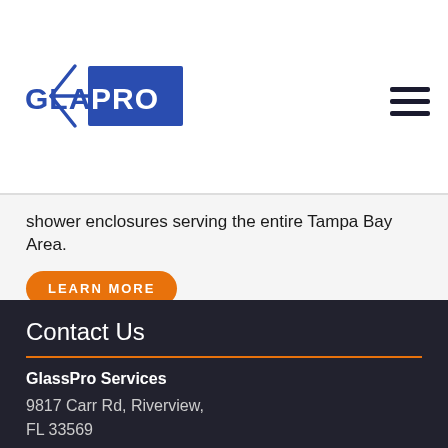[Figure (logo): GlassPro Services logo with glass panel icon and 'GLASSPRO' text in blue/navy and blue block]
[Figure (other): Hamburger menu icon (three horizontal lines)]
shower enclosures serving the entire Tampa Bay Area.
LEARN MORE
Contact Us
GlassPro Services
9817 Carr Rd, Riverview,
FL 33569